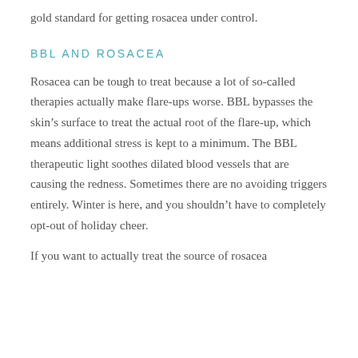gold standard for getting rosacea under control.
BBL AND ROSACEA
Rosacea can be tough to treat because a lot of so-called therapies actually make flare-ups worse. BBL bypasses the skin’s surface to treat the actual root of the flare-up, which means additional stress is kept to a minimum. The BBL therapeutic light soothes dilated blood vessels that are causing the redness. Sometimes there are no avoiding triggers entirely. Winter is here, and you shouldn’t have to completely opt-out of holiday cheer.
If you want to actually treat the source of rosacea